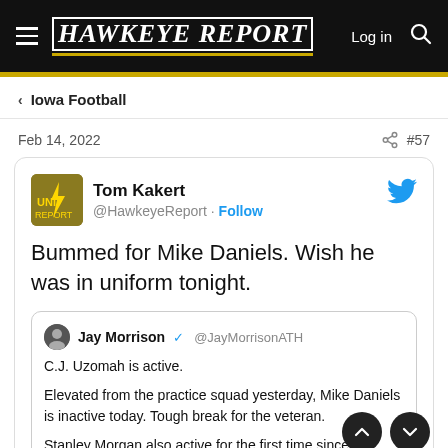HAWKEYE REPORT  Log in
Iowa Football
Feb 14, 2022  #57
Tom Kakert @HawkeyeReport · Follow
Bummed for Mike Daniels. Wish he was in uniform tonight.
Jay Morrison @JayMorrisonATH
C.J. Uzomah is active.

Elevated from the practice squad yesterday, Mike Daniels is inactive today. Tough break for the veteran.

Stanley Morgan also active for the first time since Wk